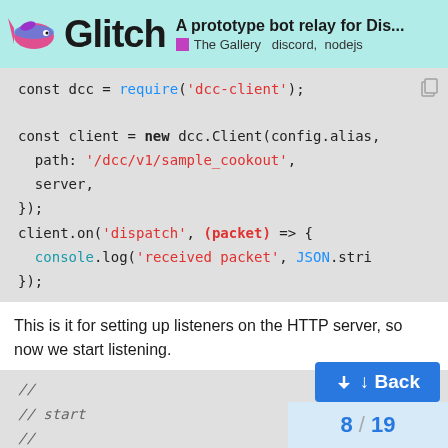Glitch — A prototype bot relay for Dis... The Gallery discord, nodejs
[Figure (screenshot): Code block showing: const dcc = require('dcc-client'); const client = new dcc.Client(config.alias, path: '/dcc/v1/sample_cookout', server, }); client.on('dispatch', (packet) => { console.log('received packet', JSON.stri }); ]
This is it for setting up listeners on the HTTP server, so now we start listening.
[Figure (screenshot): Code block showing: // // start // server.listen(process.env.]
↓ Back
8 / 19